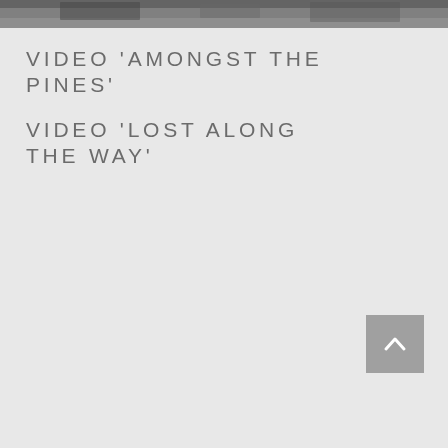[Figure (photo): A black and white photograph strip at the top of the page, partially visible, appears to show an outdoor scene.]
VIDEO 'AMONGST THE PINES'
VIDEO 'LOST ALONG THE WAY'
[Figure (other): A grey square button with a white upward-pointing chevron arrow, used as a back-to-top navigation element.]